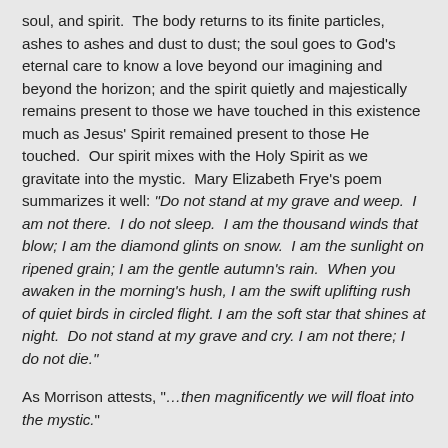soul, and spirit.  The body returns to its finite particles, ashes to ashes and dust to dust; the soul goes to God's eternal care to know a love beyond our imagining and beyond the horizon; and the spirit quietly and majestically remains present to those we have touched in this existence much as Jesus' Spirit remained present to those He touched.  Our spirit mixes with the Holy Spirit as we gravitate into the mystic.  Mary Elizabeth Frye's poem summarizes it well: “Do not stand at my grave and weep.  I am not there.  I do not sleep.  I am the thousand winds that blow; I am the diamond glints on snow.  I am the sunlight on ripened grain; I am the gentle autumn’s rain.  When you awaken in the morning’s hush, I am the swift uplifting rush of quiet birds in circled flight. I am the soft star that shines at night.  Do not stand at my grave and cry. I am not there; I do not die.”
As Morrison attests, “…then magnificently we will float into the mystic.”